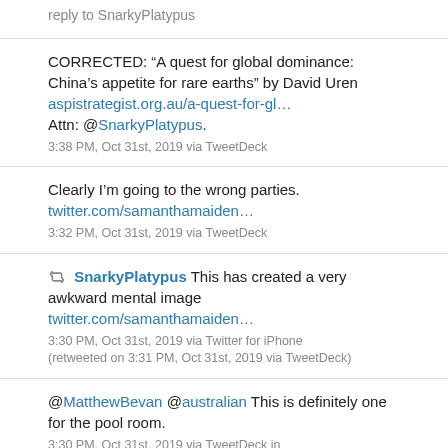reply to SnarkyPlatypus
CORRECTED: “A quest for global dominance: China’s appetite for rare earths” by David Uren aspistrategist.org.au/a-quest-for-gl… Attn: @SnarkyPlatypus.
3:38 PM, Oct 31st, 2019 via TweetDeck
Clearly I’m going to the wrong parties. twitter.com/samanthamaiden…
3:32 PM, Oct 31st, 2019 via TweetDeck
SnarkyPlatypus This has created a very awkward mental image twitter.com/samanthamaiden…
3:30 PM, Oct 31st, 2019 via Twitter for iPhone (retweeted on 3:31 PM, Oct 31st, 2019 via TweetDeck)
@MatthewBevan @australian This is definitely one for the pool room.
3:30 PM, Oct 31st, 2019 via TweetDeck in